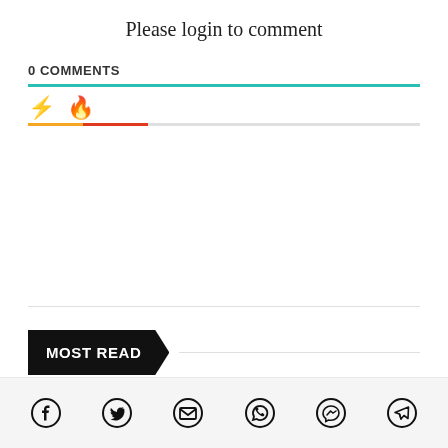Please login to comment
0 COMMENTS
[Figure (infographic): Lightning bolt icon (orange) and flame icon (red) representing comment sorting options, with colored underline tabs]
MOST READ
[Figure (infographic): Social share icon bar with Facebook, Twitter, Email, WhatsApp, Messenger, and Telegram icons]